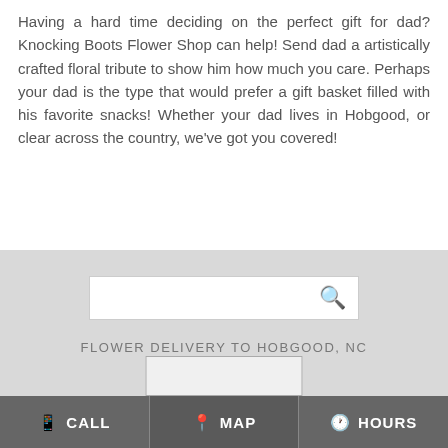Having a hard time deciding on the perfect gift for dad? Knocking Boots Flower Shop can help! Send dad a artistically crafted floral tribute to show him how much you care. Perhaps your dad is the type that would prefer a gift basket filled with his favorite snacks! Whether your dad lives in Hobgood, or clear across the country, we've got you covered!
[Figure (screenshot): Search bar with magnifying glass icon on gray background]
FLOWER DELIVERY TO HOBGOOD, NC
CALL   MAP   HOURS